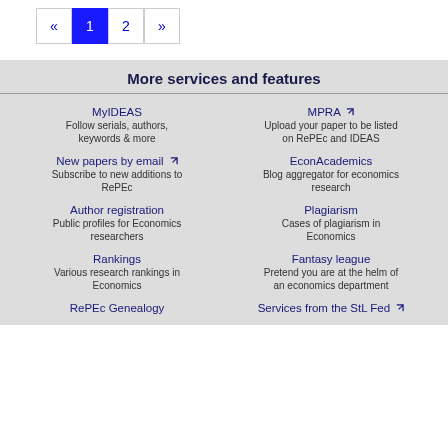[Figure (other): Pagination control with previous arrow, page 1 (active/highlighted in blue), page 2, and next arrow]
More services and features
MyIDEAS
Follow serials, authors, keywords & more
MPRA
Upload your paper to be listed on RePEc and IDEAS
New papers by email
Subscribe to new additions to RePEc
EconAcademics
Blog aggregator for economics research
Author registration
Public profiles for Economics researchers
Plagiarism
Cases of plagiarism in Economics
Rankings
Various research rankings in Economics
Fantasy league
Pretend you are at the helm of an economics department
RePEc Genealogy
Services from the StL Fed